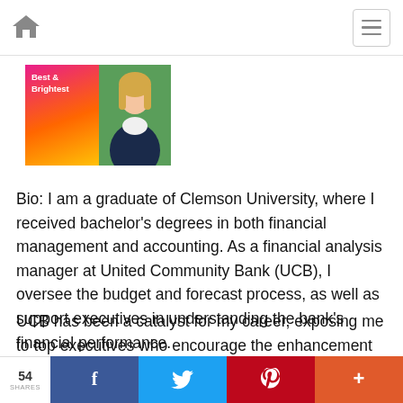Navigation bar with home icon and menu button
[Figure (photo): Best & Brightest badge with photo of a smiling woman with blonde hair in a dark jacket]
Bio: I am a graduate of Clemson University, where I received bachelor's degrees in both financial management and accounting. As a financial analysis manager at United Community Bank (UCB), I oversee the budget and forecast process, as well as support executives in understanding the bank's financial performance.
UCB has been a catalyst for my career, exposing me to top executives who encourage the enhancement of my leadership skills. Born and raised in Greenville by parents who are integrally involved in the community, my passion
54 SHARES | Share on Facebook | Share on Twitter | Share on Pinterest | More